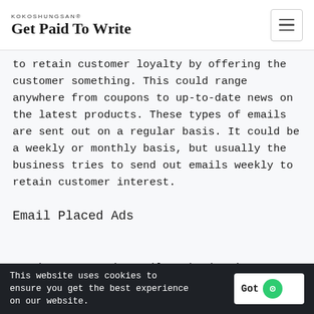KOKOSHUNGSAN® Get Paid To Write
to retain customer loyalty by offering the customer something. This could range anywhere from coupons to up-to-date news on the latest products. These types of emails are sent out on a regular basis. It could be a weekly or monthly basis, but usually the business tries to send out emails weekly to retain customer interest.
Email Placed Ads
Another way to do email marketing is to get some advertisement space within another email. Many times
This website uses cookies to ensure you get the best experience on our website.